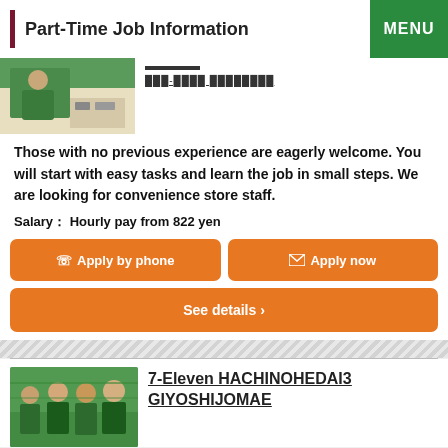Part-Time Job Information
[Figure (photo): Person in green uniform working at a counter]
Those with no previous experience are eagerly welcome. You will start with easy tasks and learn the job in small steps. We are looking for convenience store staff.
Salary： Hourly pay from 822 yen
Apply by phone
Apply now
See details ›
[Figure (photo): Group of 7-Eleven staff in green uniforms]
7-Eleven HACHINOHEDAI3 GIYOSHIJOMAE